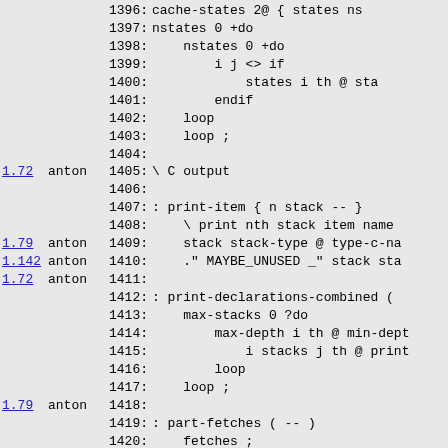Source code listing with version annotations (lines 1396-1426), showing Forth-like code including cache-states, print-item, print-declarations-combined, part-fetches, part-output-c-tail definitions with author annotations (anton) and version numbers (1.72, 1.79, 1.142, 1.85, 1.91).